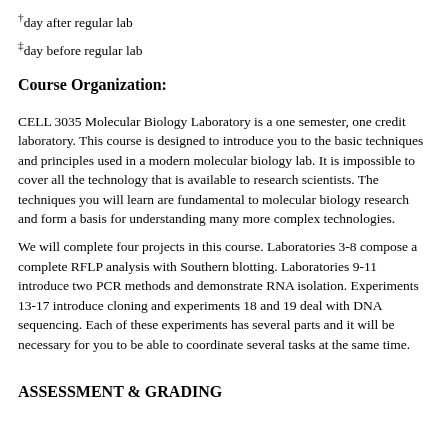†day after regular lab
‡day before regular lab
Course Organization:
CELL 3035 Molecular Biology Laboratory is a one semester, one credit laboratory. This course is designed to introduce you to the basic techniques and principles used in a modern molecular biology lab. It is impossible to cover all the technology that is available to research scientists. The techniques you will learn are fundamental to molecular biology research and form a basis for understanding many more complex technologies.
We will complete four projects in this course. Laboratories 3-8 compose a complete RFLP analysis with Southern blotting. Laboratories 9-11 introduce two PCR methods and demonstrate RNA isolation. Experiments 13-17 introduce cloning and experiments 18 and 19 deal with DNA sequencing. Each of these experiments has several parts and it will be necessary for you to be able to coordinate several tasks at the same time.
ASSESSMENT & GRADING